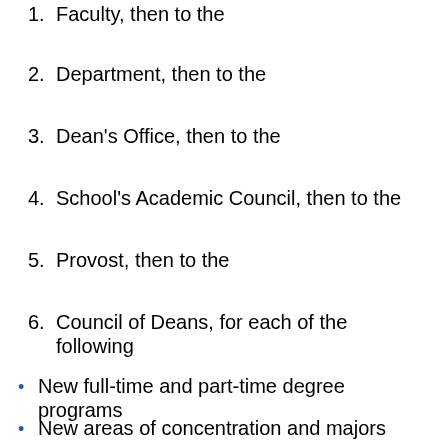1.  Faculty, then to the
2.  Department, then to the
3.  Dean's Office, then to the
4.  School's Academic Council, then to the
5.  Provost, then to the
6.  Council of Deans, for each of the following
• New full-time and part-time degree programs
• New areas of concentration and majors